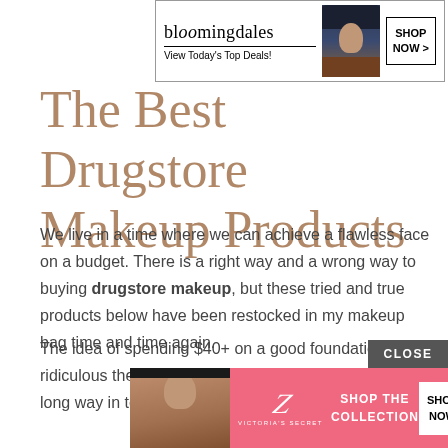[Figure (other): Bloomingdales advertisement banner with logo, 'View Today's Top Deals!' tagline, model wearing navy hat, and 'SHOP NOW >' button]
The Best Drugstore Makeup Products
We live in a time where we can achieve a flawless face on a budget. There is a right way and a wrong way to buying drugstore makeup, but these tried and true products below have been restocked in my makeup bag time and time again.
The idea of spending $40+ on a good foundation is ridiculous these days. Drugstore makeup has come a long way in terms of quality while still being able to maintain a wallet-friendly price.
[Figure (other): Victoria's Secret advertisement banner with model, VS logo, 'SHOP THE COLLECTION' text, and 'SHOP NOW' button. A 'CLOSE' button appears above the ad.]